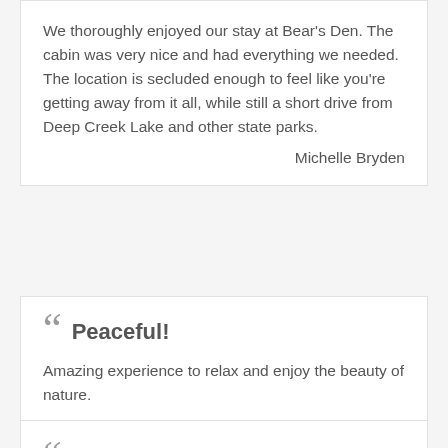We thoroughly enjoyed our stay at Bear's Den. The cabin was very nice and had everything we needed. The location is secluded enough to feel like you're getting away from it all, while still a short drive from Deep Creek Lake and other state parks.

Michelle Bryden
Peaceful!

Amazing experience to relax and enjoy the beauty of nature.

Juli Daniels